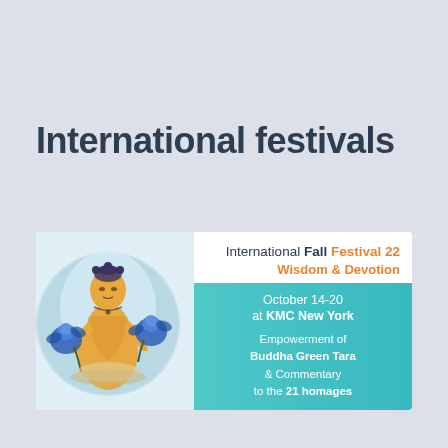International festivals
[Figure (illustration): Banner for International Fall Festival 22 – Wisdom & Devotion, October 14-20 at KMC New York, featuring an illustration of Buddha Green Tara with blue lotus flowers, with teal gradient background on the right side showing event details: Empowerment of Buddha Green Tara & Commentary to the 21 homages.]